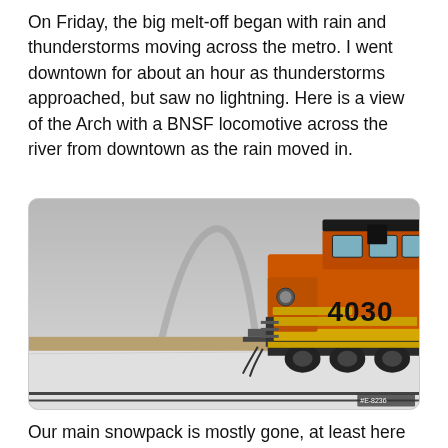On Friday, the big melt-off began with rain and thunderstorms moving across the metro. I went downtown for about an hour as thunderstorms approached, but saw no lightning. Here is a view of the Arch with a BNSF locomotive across the river from downtown as the rain moved in.
[Figure (photo): A BNSF orange locomotive numbered 4030 in the foreground on snowy tracks, with the St. Louis Gateway Arch visible in the misty background.]
Our main snowpack is mostly gone, at least here at my